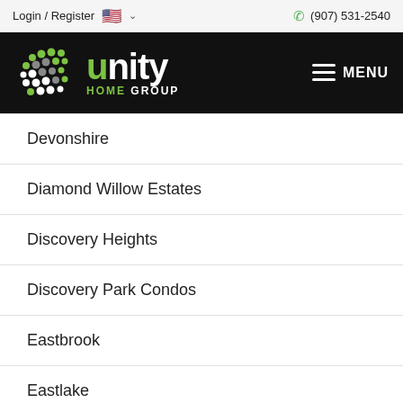Login / Register  (907) 531-2540
[Figure (logo): Unity Home Group logo — white text on black background with green and grey dot pattern icon, MENU hamburger icon on right]
Devonshire
Diamond Willow Estates
Discovery Heights
Discovery Park Condos
Eastbrook
Eastlake
Eastridge
[Figure (illustration): Green circular accessibility icon (wheelchair user symbol)]